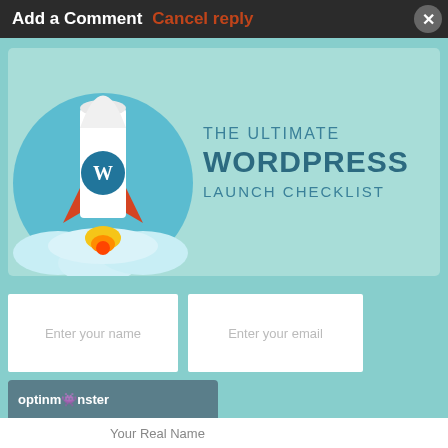Add a Comment   Cancel reply
[Figure (illustration): Promotional banner for 'The Ultimate WordPress Launch Checklist' featuring a rocket with WordPress logo launching from clouds on a teal/light blue background, with form fields for name and email, a red Download Now button, and OptinMonster branding at the bottom.]
THE ULTIMATE WORDPRESS LAUNCH CHECKLIST
Enter your name
Enter your email
Download Now
optinmonster
Your Real Name